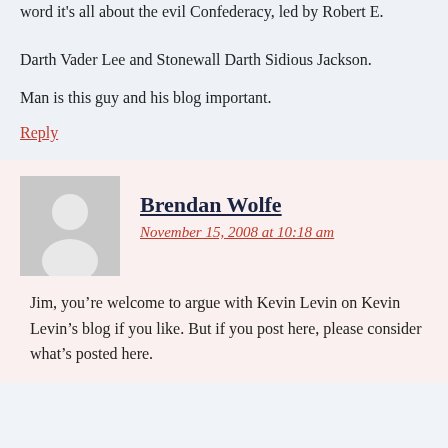Darth Vader Lee and Stonewall Darth Sidious Jackson.
Man is this guy and his blog important.
Reply
Brendan Wolfe
November 15, 2008 at 10:18 am
Jim, you’re welcome to argue with Kevin Levin on Kevin Levin’s blog if you like. But if you post here, please consider what’s posted here.